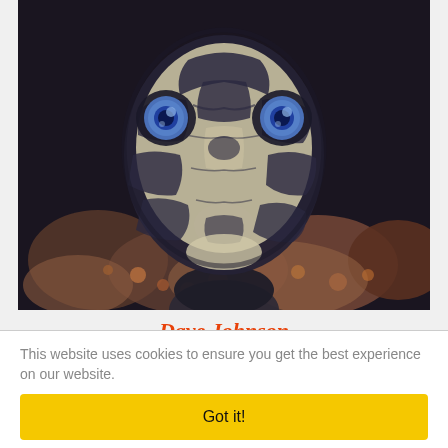[Figure (photo): Close-up macro photograph of a snake's face looking directly at the camera, with striking blue eyes and a patterned black and cream/white scaled head. The background shows blurred reddish-brown coral or rocky substrate.]
Dave Johnson
This website uses cookies to ensure you get the best experience on our website.
Got it!